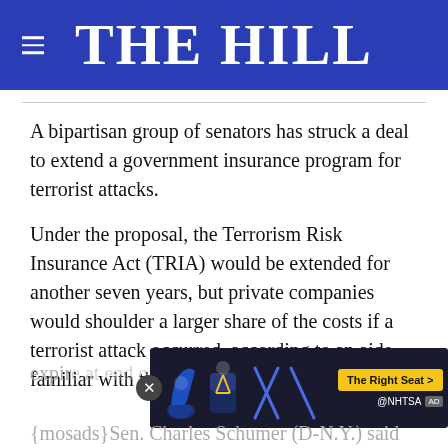THE HILL
A bipartisan group of senators has struck a deal to extend a government insurance program for terrorist attacks.
Under the proposal, the Terrorism Risk Insurance Act (TRIA) would be extended for another seven years, but private companies would shoulder a larger share of the costs if a terrorist attack occurred, according to an aide familiar with the deal. The program is set to expire at the end of the year.
[Figure (screenshot): NHTSA advertisement banner showing car seat safety icons with 'The Right Seat >' button]
{mosads}Sen. Charles Schumer (D-N.Y.) said